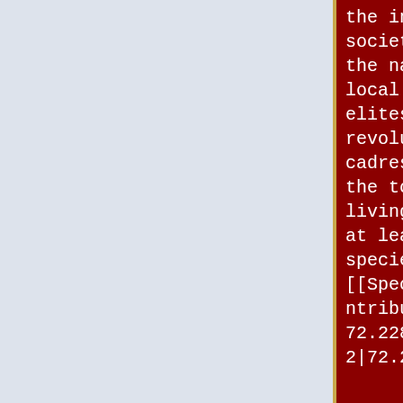the individual to society, not just the nation state, local power elites, revolutionary cadres, etc. but the totality of living beings of at least one's species of origin. [[Special:Contributions/72.228.177.92|72.228.177.9211
pure relation of the individual to society, not just the nation state, local power elites, revolutionary cadres, etc. but the totality of living beings of at least one's species of origin. [[Special:Contributions/72.228.177.9